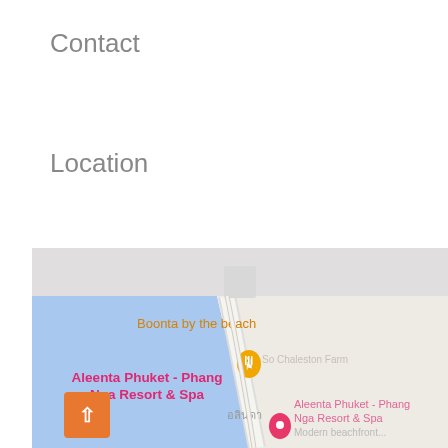Contact
Location
[Figure (map): Google Maps screenshot showing the location of Aleenta Phuket - Phang Nga Resort & Spa and Boonta by the beach restaurant. The map shows a coastal area with water on the left and land on the right. A yellow pin marks Boonta by the beach and a red/pink pin marks Aleenta Phuket - Phang Nga Resort & Spa. Thai text 'อลินดา' is visible on the map.]